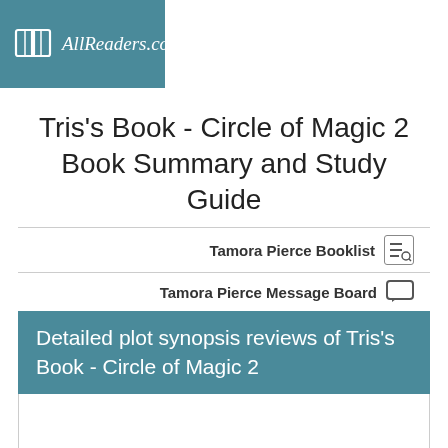AllReaders.com
Tris's Book - Circle of Magic 2 Book Summary and Study Guide
Tamora Pierce Booklist
Tamora Pierce Message Board
Detailed plot synopsis reviews of Tris's Book - Circle of Magic 2